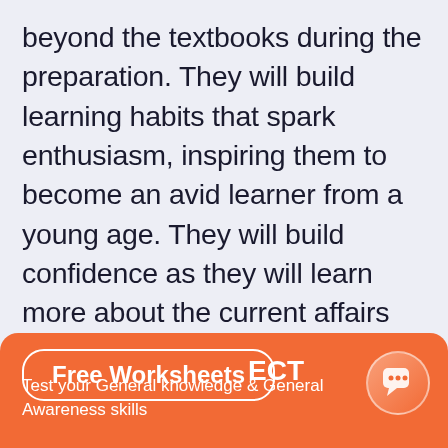beyond the textbooks during the preparation. They will build learning habits that spark enthusiasm, inspiring them to become an avid learner from a young age. They will build confidence as they will learn more about the current affairs and general facts that are necessary for building a smarter personality. Watch them become more knowledgeable as they prepare for the contest.
[Figure (infographic): Orange banner with Free Worksheets button, ECT text, subtext 'Test your General knowledge & General Awareness skills', and a circular chat bubble icon on the right.]